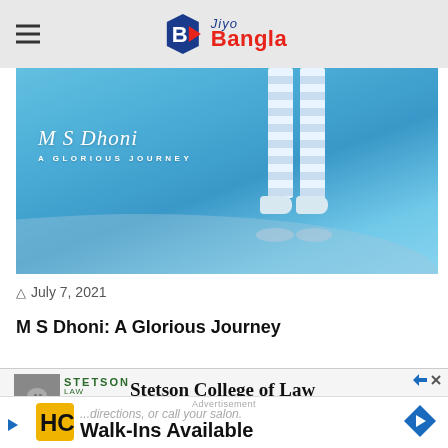Jiyo Bangla
[Figure (photo): M S Dhoni: A Glorious Journey - promotional image showing cricket player legs in blue cricket uniform with text overlay on blue background]
July 7, 2021
M S Dhoni: A Glorious Journey
[Figure (infographic): Stetson College of Law advertisement with university logo]
[Figure (infographic): Walk-Ins Available advertisement with HC logo]